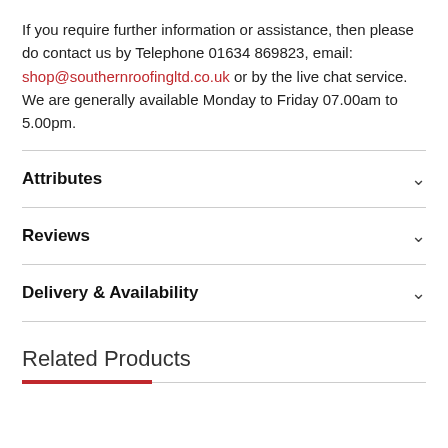If you require further information or assistance, then please do contact us by Telephone 01634 869823, email: shop@southernroofingltd.co.uk or by the live chat service. We are generally available Monday to Friday 07.00am to 5.00pm.
Attributes
Reviews
Delivery & Availability
Related Products